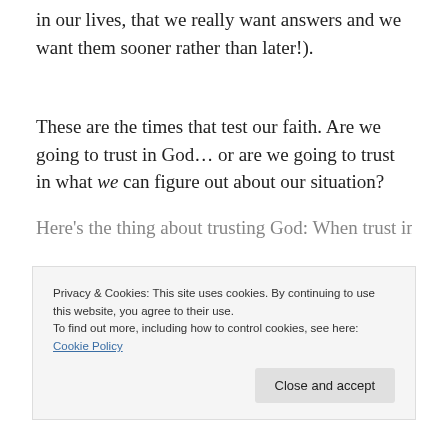in our lives, that we really want answers and we want them sooner rather than later!).
These are the times that test our faith. Are we going to trust in God… or are we going to trust in what we can figure out about our situation?
Here's the thing about trusting God: When trust in
Privacy & Cookies: This site uses cookies. By continuing to use this website, you agree to their use.
To find out more, including how to control cookies, see here: Cookie Policy